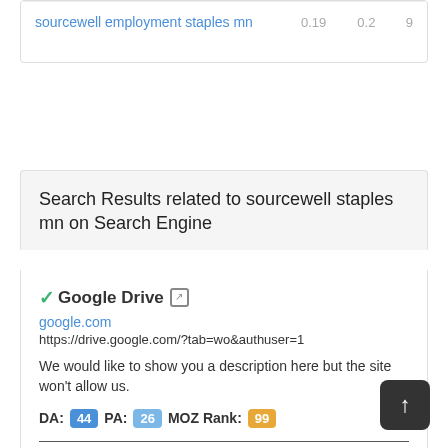|  |  |  |  |
| --- | --- | --- | --- |
| sourcewell employment staples mn | 0.19 | 0.2 | 9 |
Search Results related to sourcewell staples mn on Search Engine
✓Google Drive ↗
google.com
https://drive.google.com/?tab=wo&authuser=1
We would like to show you a description here but the site won't allow us.
DA: 44  PA: 26  MOZ Rank: 99
✓Wo!262 - itch.io ↗
itch.io